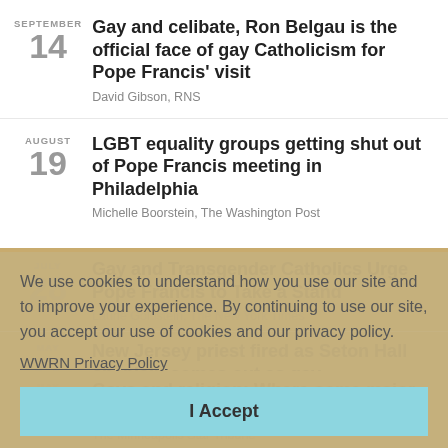SEPTEMBER 14 — Gay and celibate, Ron Belgau is the official face of gay Catholicism for Pope Francis' visit — David Gibson, RNS
AUGUST 19 — LGBT equality groups getting shut out of Pope Francis meeting in Philadelphia — Michelle Boorstein, The Washington Post
JULY 28 — Gay and Transgender Catholics Urge Pope Francis to Take a Stand — Laurie Goldstein, The New York Times
MAY 27 — New Jersey priest fired as Seton Hall chaplain comes out as gay — David Gibson, The Huffington Post
MAY 17 — Gays and religion: Where some major denominatitions stand — The Minneapolis Star Tribune
We use cookies to understand how you use our site and to improve your experience. By continuing to use our site, you accept our use of cookies and our privacy policy.
WWRN Privacy Policy
I Accept